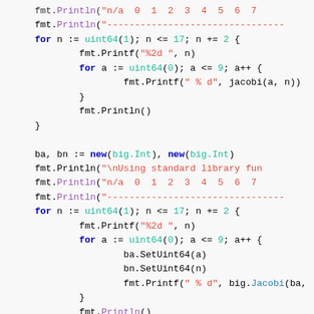[Figure (screenshot): Go source code snippet showing two loops using jacobi and big.Jacobi functions with fmt.Printf/Println calls, syntax highlighted in multiple colors.]